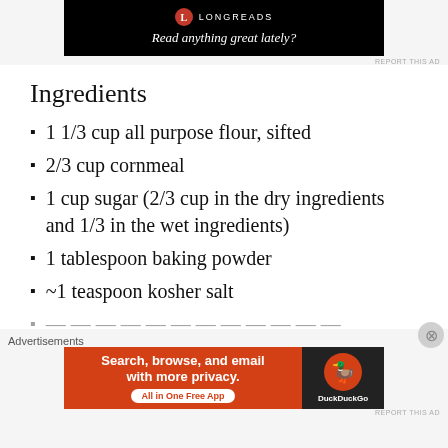[Figure (other): Longreads advertisement banner with black background, Longreads logo and tagline 'Read anything great lately?']
Ingredients
1 1/3 cup all purpose flour, sifted
2/3 cup cornmeal
1 cup sugar (2/3 cup in the dry ingredients and 1/3 in the wet ingredients)
1 tablespoon baking powder
~1 teaspoon kosher salt
Advertisements
[Figure (other): DuckDuckGo advertisement: orange and dark background. Left side orange: 'Search, browse, and email with more privacy. All in One Free App'. Right side dark: DuckDuckGo duck logo and name.]